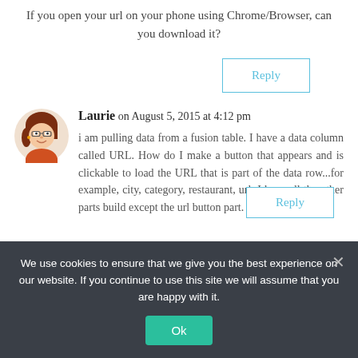If you open your url on your phone using Chrome/Browser, can you download it?
Reply
Laurie on August 5, 2015 at 4:12 pm
[Figure (illustration): Avatar of user Laurie: cartoon female with brown hair and glasses]
i am pulling data from a fusion table. I have a data column called URL. How do I make a button that appears and is clickable to load the URL that is part of the data row...for example, city, category, restaurant, url. I have all the other parts build except the url button part.
We use cookies to ensure that we give you the best experience on our website. If you continue to use this site we will assume that you are happy with it.
Ok